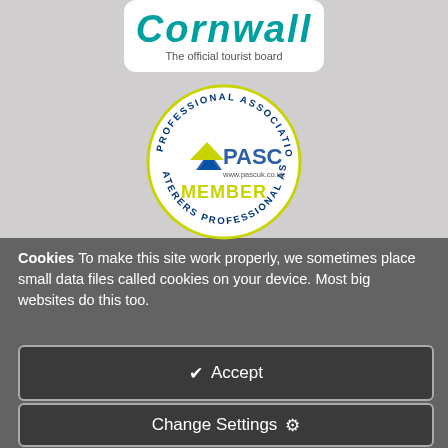[Figure (logo): Cornwall official tourist board logo with teal italic text and white rounded box background]
[Figure (logo): PASC UK Member badge - circular badge with text 'Professional Association of Self Caterers' around the ring, PASC logo and MEMBER text in center]
Cookies To make this site work properly, we sometimes place small data files called cookies on your device. Most big websites do this too.
✔ Accept
Change Settings ⚙